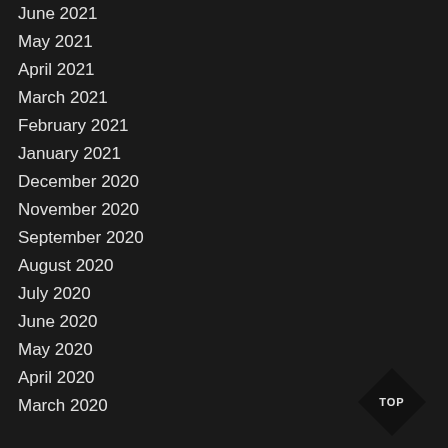June 2021
May 2021
April 2021
March 2021
February 2021
January 2021
December 2020
November 2020
September 2020
August 2020
July 2020
June 2020
May 2020
April 2020
March 2020
[Figure (other): TOP navigation button - black diamond shape with TOP text]